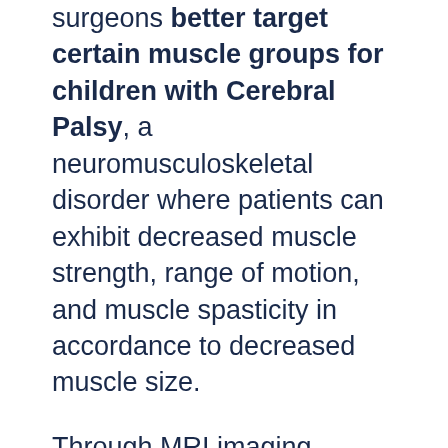surgeons better target certain muscle groups for children with Cerebral Palsy, a neuromusculoskeletal disorder where patients can exhibit decreased muscle strength, range of motion, and muscle spasticity in accordance to decreased muscle size.
Through MRI imaging, analytical techniques, and 3D muscle modeling, they were able to accurately quantify individual muscles for each patient. It wasn't long after, that they discovered that the application of these methods could be extended to many other use cases. This is when they brought on their third co-founder, Prof. Dr. Joe Hart, to look further into how their methods could be used